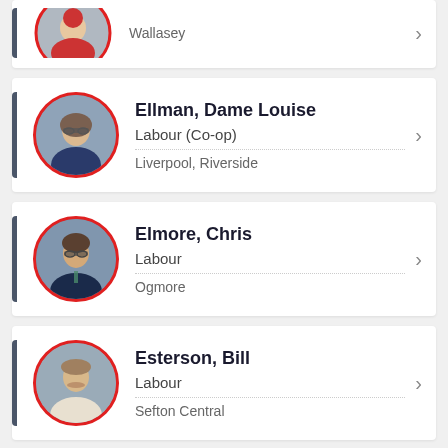Wallasey (partial card at top)
Ellman, Dame Louise | Labour (Co-op) | Liverpool, Riverside
Elmore, Chris | Labour | Ogmore
Esterson, Bill | Labour | Sefton Central
Evans, Chris (partial card at bottom)